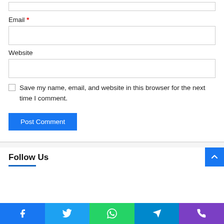Email *
Website
Save my name, email, and website in this browser for the next time I comment.
Post Comment
Follow Us
[Figure (other): Social media bar with Facebook, Twitter, WhatsApp, Telegram, and Phone icons]